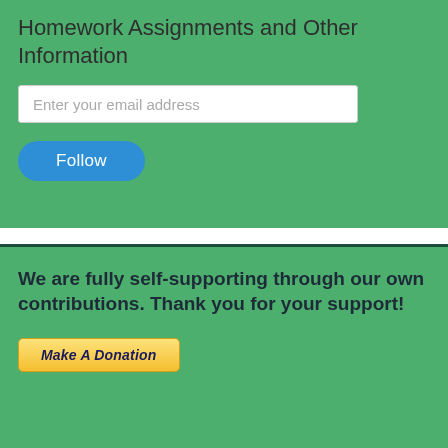Homework Assignments and Other Information
Enter your email address
Follow
We are fully self-supporting through our own contributions. Thank you for your support!
Make A Donation